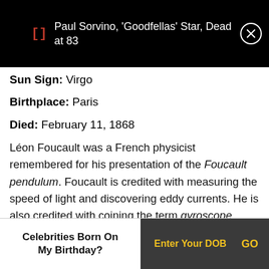Paul Sorvino, 'Goodfellas' Star, Dead at 83
Sun Sign: Virgo
Birthplace: Paris
Died: February 11, 1868
Léon Foucault was a French physicist remembered for his presentation of the Foucault pendulum. Foucault is credited with measuring the speed of light and discovering eddy currents. He is also credited with coining the term gyroscope. Considered one of the most important physicists from France, Foucault's name is among the 72
Celebrities Born On My Birthday? Enter Your DOB GO